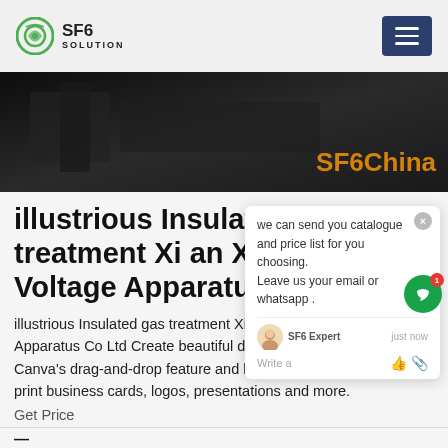SF6 SOLUTION
[Figure (screenshot): Dark hero banner image with SF6China text in orange on the right side]
illustrious Insulated gas treatment Xi an XD High Voltage Apparatus Co Ltd
illustrious Insulated gas treatment Xi an AD High Voltage Apparatus Co Ltd Create beautiful designs with your team. Use Canva's drag-and-drop feature and layouts to design, share and print business cards, logos, presentations and more.
Get Price